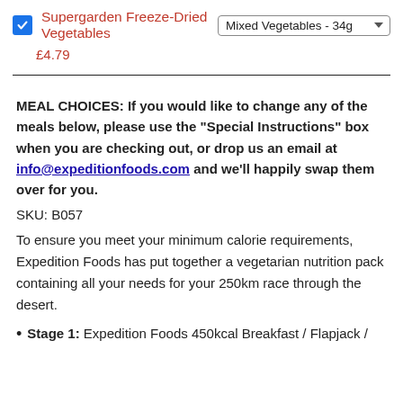Supergarden Freeze-Dried Vegetables  Mixed Vegetables - 34g
£4.79
MEAL CHOICES: If you would like to change any of the meals below, please use the "Special Instructions" box when you are checking out, or drop us an email at info@expeditionfoods.com and we'll happily swap them over for you.
SKU: B057
To ensure you meet your minimum calorie requirements, Expedition Foods has put together a vegetarian nutrition pack containing all your needs for your 250km race through the desert.
Stage 1: Expedition Foods 450kcal Breakfast / Flapjack /